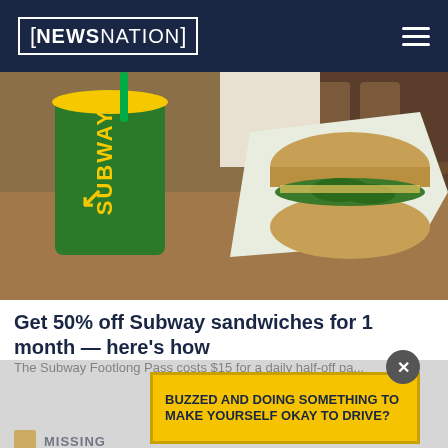NEWSNATION
[Figure (photo): A Subway restaurant drink cup (green with yellow lid and SUBWAY branding) next to a Subway sandwich in a paper wrapper, on a table in a restaurant setting.]
Get 50% off Subway sandwiches for 1 month — here's how
The Subway Footlong Pass costs $15 for a daily half-off pa...
[Figure (infographic): Advertisement overlay: 'BUZZED AND DOING SOMETHING TO MAKE YOURSELF OKAY TO DRIVE?' in yellow box with dark blue text]
MISSING